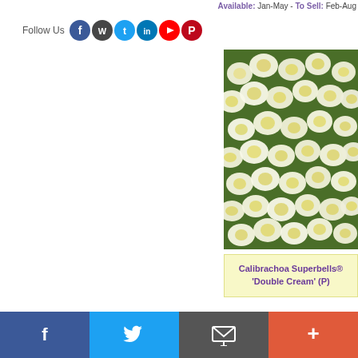Available: Jan-May - To Sell: Feb-Aug  Follow Us [social icons]
[Figure (photo): Photo of Calibrachoa Superbells Double Cream flowers — dense cluster of white and cream-yellow double blooms against green foliage]
Calibrachoa Superbells® 'Double Cream' (P)
Available: Jan-May - To Sell: Feb-Aug
Unit: 100 - Price: £41.50
Social share bar: Facebook, Twitter, Email, Plus